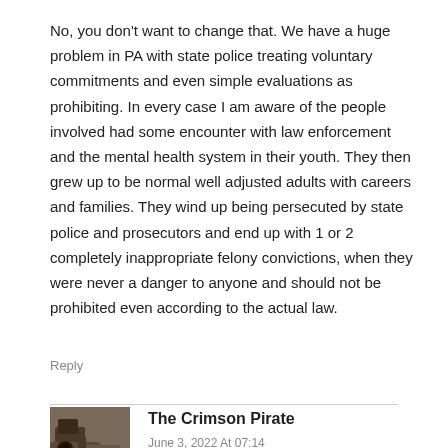No, you don't want to change that. We have a huge problem in PA with state police treating voluntary commitments and even simple evaluations as prohibiting. In every case I am aware of the people involved had some encounter with law enforcement and the mental health system in their youth. They then grew up to be normal well adjusted adults with careers and families. They wind up being persecuted by state police and prosecutors and end up with 1 or 2 completely inappropriate felony convictions, when they were never a danger to anyone and should not be prohibited even according to the actual law.
Reply
The Crimson Pirate
June 3, 2022 At 07:14
again from the article